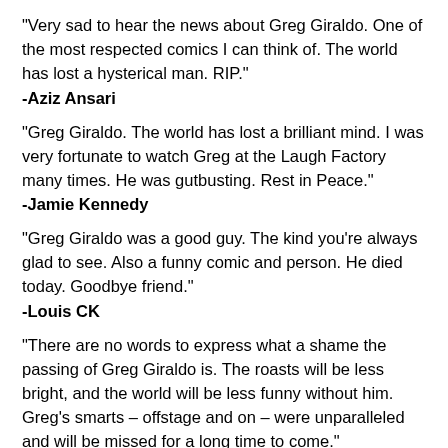“Very sad to hear the news about Greg Giraldo. One of the most respected comics I can think of. The world has lost a hysterical man. RIP.”
-Aziz Ansari
“Greg Giraldo. The world has lost a brilliant mind. I was very fortunate to watch Greg at the Laugh Factory many times. He was gutbusting. Rest in Peace.”
-Jamie Kennedy
“Greg Giraldo was a good guy. The kind you’re always glad to see. Also a funny comic and person. He died today. Goodbye friend.”
-Louis CK
“There are no words to express what a shame the passing of Greg Giraldo is. The roasts will be less bright, and the world will be less funny without him. Greg’s smarts – offstage and on – were unparalleled and will be missed for a long time to come.”